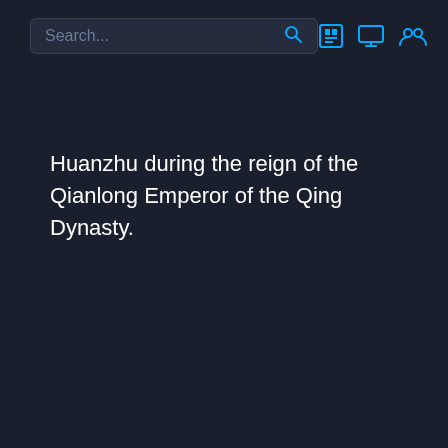Search...
Huanzhu during the reign of the Qianlong Emperor of the Qing Dynasty.